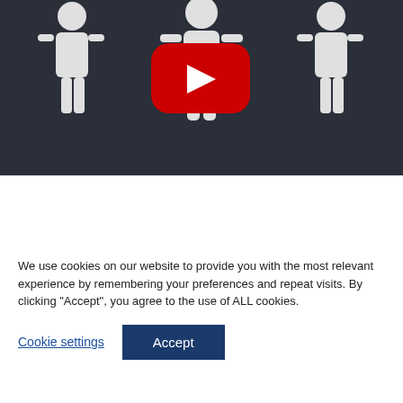[Figure (screenshot): Dark chalkboard background with white silhouette icons of people and a YouTube play button overlay in red and white]
Convince yourself of the Online Simulation
We use cookies on our website to provide you with the most relevant experience by remembering your preferences and repeat visits. By clicking "Accept", you agree to the use of ALL cookies.
Cookie settings
Accept